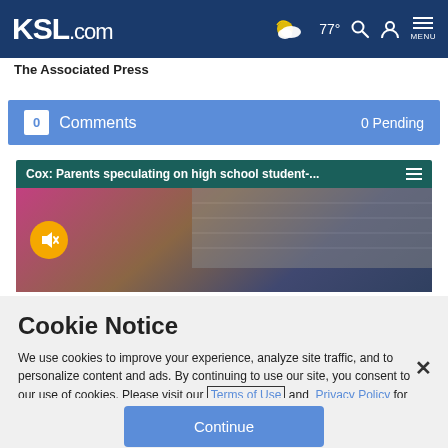KSL.com  77°  MENU
The Associated Press
0  Comments  0 Pending
[Figure (screenshot): Video embed with title bar: Cox: Parents speculating on high school student-... with mute button]
Cookie Notice
We use cookies to improve your experience, analyze site traffic, and to personalize content and ads. By continuing to use our site, you consent to our use of cookies. Please visit our Terms of Use and Privacy Policy for more information.
Continue